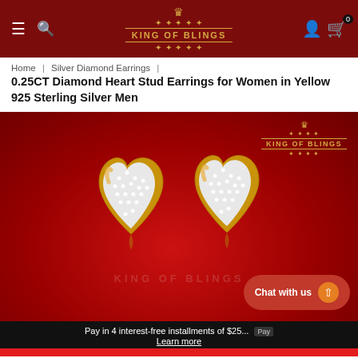King of Blings — navigation header with hamburger menu, search, logo, user icon, cart (0)
Home | Silver Diamond Earrings |
0.25CT Diamond Heart Stud Earrings for Women in Yellow 925 Sterling Silver Men
[Figure (photo): Product photo of two gold heart-shaped diamond stud earrings on a red background, with King of Blings logo watermark in top right corner]
Pay in 4 interest-free installments of $25... Learn more
Chat with us